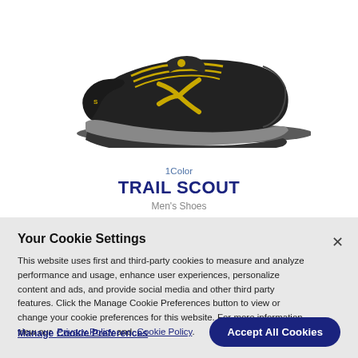[Figure (photo): Black and yellow ASICS Trail Scout men's trail running shoe, side profile view on white background]
1Color
TRAIL SCOUT
Men's Shoes
Your Cookie Settings
This website uses first and third-party cookies to measure and analyze performance and usage, enhance user experiences, personalize content and ads, and provide social media and other third party features. Click the Manage Cookie Preferences button to view or change your cookie preferences for this website. For more information view our Privacy Policy and Cookie Policy.
Manage Cookie Preferences
Accept All Cookies